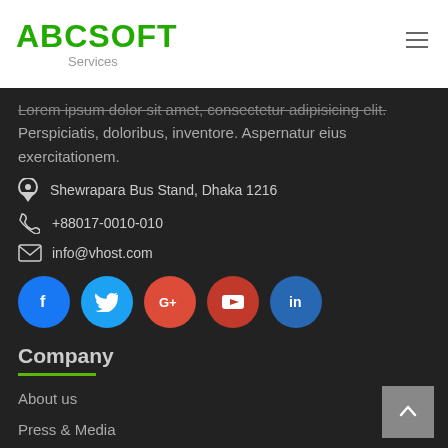ABCSOFT Services
Lorem ipsum dolor sit amet, consectetur adipisicing elit. Perspiciatis, doloribus, inventore. Aspernatur eius exercitationem.
Shewrapara Bus Stand, Dhaka 1216
+88017-0010-010
info@vhost.com
[Figure (illustration): Social media icons row: Facebook (blue), Twitter (cyan), Google+ (orange-red), YouTube (dark red), LinkedIn (blue)]
Company
About us
Press & Media